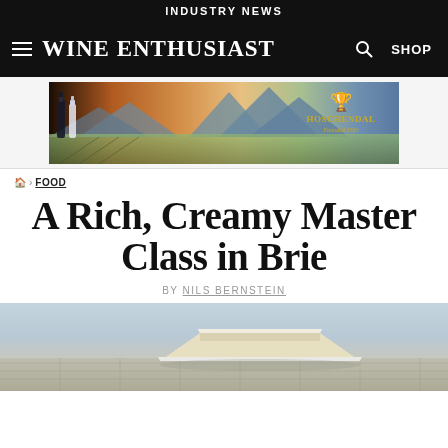INDUSTRY NEWS
Wine Enthusiast
[Figure (illustration): Hoschendal wine advertisement banner showing wine bottles, mountainous landscape, and gold Hoschendal logo/badge]
🏠 > FOOD
A Rich, Creamy Master Class in Brie
BY NILS BERNSTEIN
[Figure (photo): Close-up photo of Brie cheese on a surface with light blue/grey background]